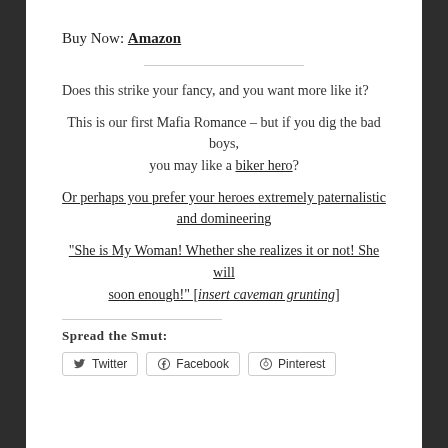Buy Now: Amazon
Does this strike your fancy, and you want more like it?
This is our first Mafia Romance – but if you dig the bad boys, you may like a biker hero?
Or perhaps you prefer your heroes extremely paternalistic and domineering
"She is My Woman! Whether she realizes it or not! She will soon enough!" [insert caveman grunting]
Spread the Smut:
Twitter   Facebook   Pinterest